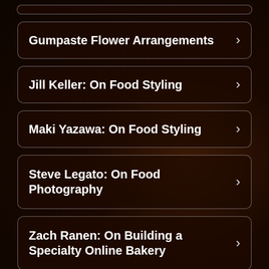Gumpaste Flower Arrangements
Jill Keller: On Food Styling
Maki Yazawa: On Food Styling
Steve Legato: On Food Photography
Zach Ranen: On Building a Specialty Online Bakery